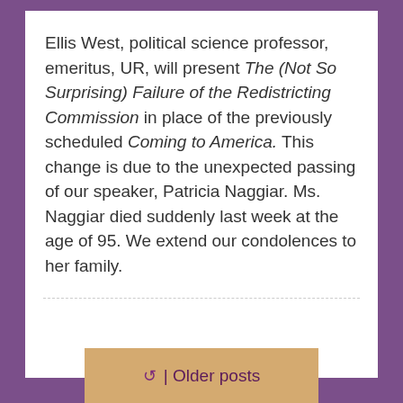Ellis West, political science professor, emeritus, UR, will present The (Not So Surprising) Failure of the Redistricting Commission in place of the previously scheduled Coming to America. This change is due to the unexpected passing of our speaker, Patricia Naggiar. Ms. Naggiar died suddenly last week at the age of 95. We extend our condolences to her family.
Older posts